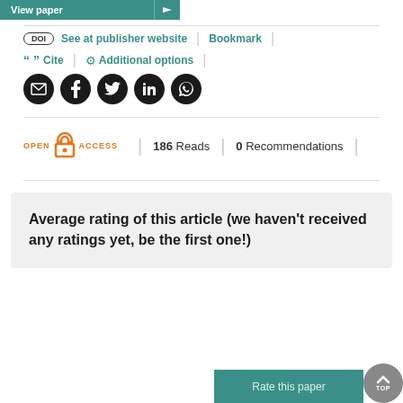[Figure (screenshot): View paper button in teal/green color at top]
DOI  See at publisher website  |  Bookmark  |  “” Cite  |  ⚙ Additional options
[Figure (other): Social sharing icons: email, facebook, twitter, linkedin, whatsapp]
OPEN ACCESS  |  186 Reads  |  0 Recommendations
Average rating of this article (we haven't received any ratings yet, be the first one!)
Rate this paper